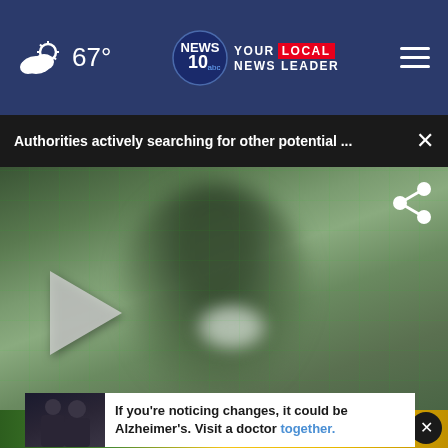67° | NEWS 10 abc YOUR LOCAL NEWS LEADER
Authorities actively searching for other potential ...  ×
[Figure (photo): Blurred video still showing a person, with a play button overlay and share icon. News video player paused.]
[Figure (photo): School bus advertisement banner showing a yellow school bus and trees in background.]
If you're noticing changes, it could be Alzheimer's. Visit a doctor together.